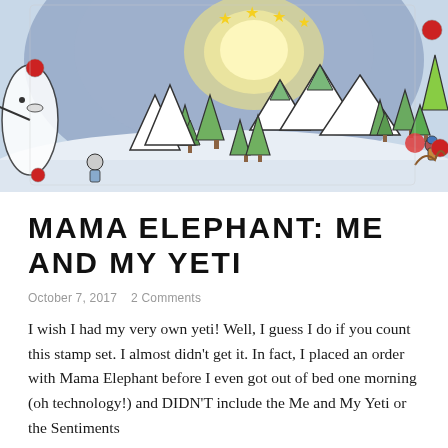[Figure (illustration): A winter scene illustration/photo showing a handmade card with watercolor background. There are snow-covered mountains, green Christmas trees, a glowing moon with stars, small figures of children, a snowman, a yeti character on the left, and holiday decorations including red ornaments and a deer.]
MAMA ELEPHANT: ME AND MY YETI
October 7, 2017   2 Comments
I wish I had my very own yeti! Well, I guess I do if you count this stamp set. I almost didn't get it. In fact, I placed an order with Mama Elephant before I even got out of bed one morning (oh technology!) and DIDN'T include the Me and My Yeti or the Sentiments